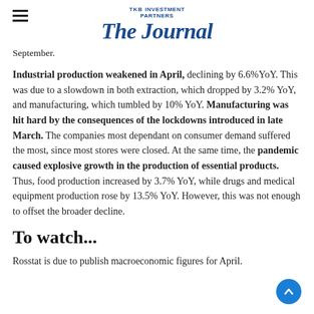TKB INVESTMENT PARTNERS The Journal
September.
Industrial production weakened in April, declining by 6.6%YoY. This was due to a slowdown in both extraction, which dropped by 3.2% YoY, and manufacturing, which tumbled by 10% YoY. Manufacturing was hit hard by the consequences of the lockdowns introduced in late March. The companies most dependant on consumer demand suffered the most, since most stores were closed. At the same time, the pandemic caused explosive growth in the production of essential products. Thus, food production increased by 3.7% YoY, while drugs and medical equipment production rose by 13.5% YoY. However, this was not enough to offset the broader decline.
To watch...
Rosstat is due to publish macroeconomic figures for April.